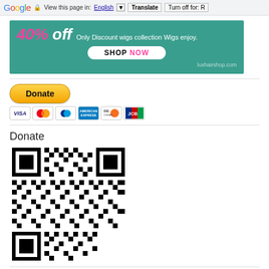Google  View this page in: English [▼]  Translate  Turn off for: R
[Figure (screenshot): Advertisement banner with teal background showing '40% off Only Discount wigs collection Wigs enjoy.' with a white SHOP NOW button and luxhairshop.com domain]
[Figure (screenshot): PayPal Donate button (yellow pill shape) with credit card icons below: VISA, Mastercard, PayPal, American Express, Discover, JCB]
Donate
[Figure (other): QR code for Donate link]